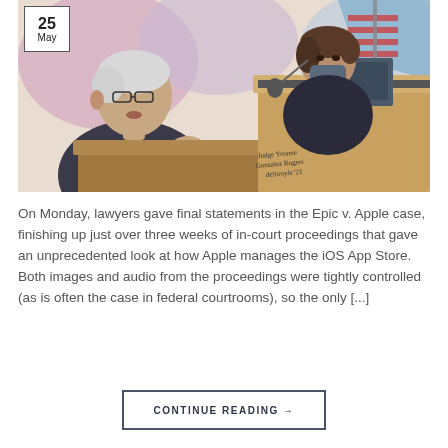[Figure (illustration): A courtroom sketch showing two figures: on the left, a man in a dark suit with glasses speaking/gesturing, and on the right, a woman in dark clothing wearing a face mask seated at a raised judge's bench. An American flag is visible in the background. The artist's signature reads 'Judge Yvonne Gonzalez Rogers' and the date. A date badge in the upper left corner shows '25 May'.]
On Monday, lawyers gave final statements in the Epic v. Apple case, finishing up just over three weeks of in-court proceedings that gave an unprecedented look at how Apple manages the iOS App Store. Both images and audio from the proceedings were tightly controlled (as is often the case in federal courtrooms), so the only [...]
CONTINUE READING →